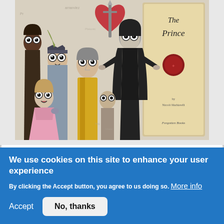[Figure (illustration): Cartoon illustration showing animated characters including several people with exaggerated cartoon eyes grouped on the left, and a figure in black robes (Machiavelli) on the right presenting a book cover titled 'The Prince' by Niccolò Machiavelli (Forgotten Books). A large red heart pierced by a sword is visible in the background.]
When discussing whether it is better to be feared or loved, Machiavelli talks of two great military leaders: the Roman General
We use cookies on this site to enhance your user experience
By clicking the Accept button, you agree to us doing so. More info
Accept   No, thanks